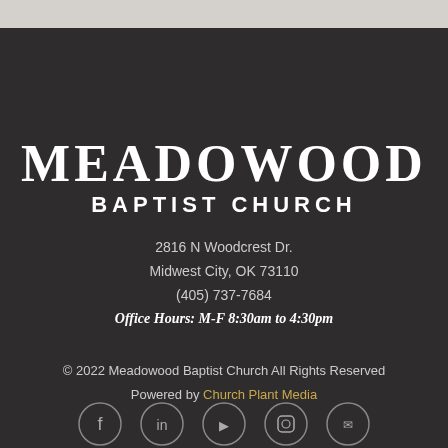MEADOWOOD BAPTIST CHURCH
2816 N Woodcrest Dr.
Midwest City, OK 73110
(405) 737-7684
Office Hours: M-F 8:30am to 4:30pm
© 2022 Meadowood Baptist Church All Rights Reserved
Powered by Church Plant Media
[Figure (illustration): Row of five circular social media icons at bottom of page]